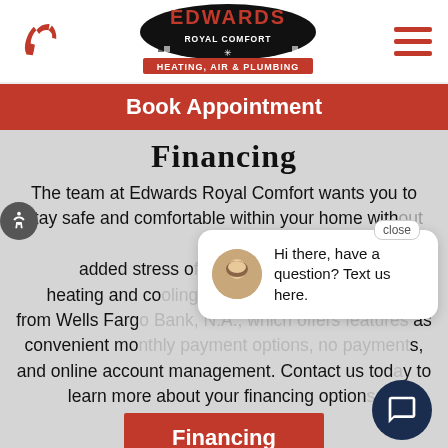[Figure (logo): Edwards Royal Comfort Heating, Air & Plumbing logo with checkered flag design]
[Figure (illustration): Red phone icon on the left side of header]
[Figure (illustration): Hamburger menu icon (three red horizontal bars) on the right side of header]
Book Appointment
Financing
The team at Edwards Royal Comfort wants you to stay safe and comfortable within your home without the added stress of repair bills. We offer financing on heating and cooling equipment and installation from Wells Fargo Bank, N.A., which offers features as convenient monthly payment options, no payments, and online account management. Contact us today to learn more about your financing options.
[Figure (illustration): Chat popup with a woman avatar and text: Hi there, have a question? Text us here.]
Financing